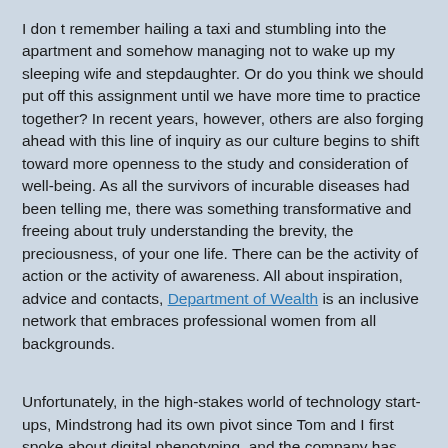I don t remember hailing a taxi and stumbling into the apartment and somehow managing not to wake up my sleeping wife and stepdaughter. Or do you think we should put off this assignment until we have more time to practice together? In recent years, however, others are also forging ahead with this line of inquiry as our culture begins to shift toward more openness to the study and consideration of well-being. As all the survivors of incurable diseases had been telling me, there was something transformative and freeing about truly understanding the brevity, the preciousness, of your one life. There can be the activity of action or the activity of awareness. All about inspiration, advice and contacts, Department of Wealth is an inclusive network that embraces professional women from all backgrounds.
Unfortunately, in the high-stakes world of technology start-ups, Mindstrong had its own pivot since Tom and I first spoke about digital phenotyping, and the company has shifted from that type of passive assessment into more care delivery, reflecting marketplace demand in the private sector. So what's getting in our way? You vividly remember that high school colleague who kept saying that they are just bad at Mathematics. It s a purging of data to come and to come. To the ears of Catholic discipli...